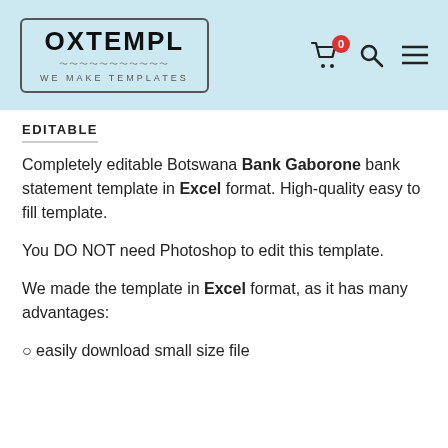[Figure (logo): OXTEMPL logo with tagline 'WE MAKE TEMPLATES' inside a rounded rectangle border, with shopping cart icon (badge showing 0), search icon, and menu icon on the right, all on a light blue header background]
EDITABLE
Completely editable Botswana Bank Gaborone bank statement template in Excel format. High-quality easy to fill template.
You DO NOT need Photoshop to edit this template.
We made the template in Excel format, as it has many advantages:
○ easily download small size file